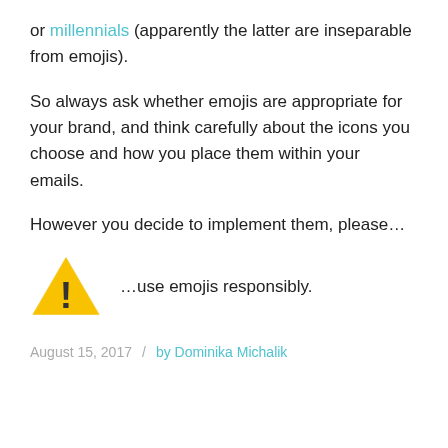or millennials (apparently the latter are inseparable from emojis).
So always ask whether emojis are appropriate for your brand, and think carefully about the icons you choose and how you place them within your emails.
However you decide to implement them, please…
[Figure (illustration): Yellow warning triangle with exclamation mark icon, next to text '…use emojis responsibly.']
August 15, 2017 / by Dominika Michalik